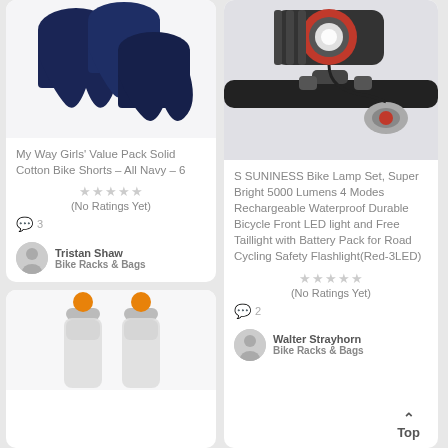[Figure (photo): Navy blue girls bike shorts, multiple pairs folded]
My Way Girls’ Value Pack Solid Cotton Bike Shorts – All Navy – 6
(No Ratings Yet)
3
Tristan Shaw
Bike Racks & Bags
[Figure (photo): Bicycle front LED light (red) and taillight set]
S SUNINESS Bike Lamp Set, Super Bright 5000 Lumens 4 Modes Rechargeable Waterproof Durable Bicycle Front LED light and Free Taillight with Battery Pack for Road Cycling Safety Flashlight(Red-3LED)
(No Ratings Yet)
2
Walter Strayhorn
Bike Racks & Bags
[Figure (photo): Two water bottles with orange caps, partially visible]